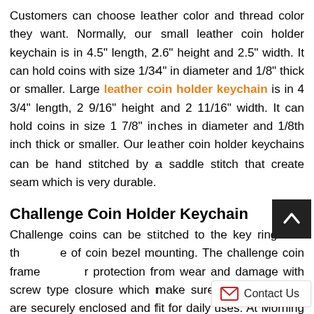Customers can choose leather color and thread color they want. Normally, our small leather coin holder keychain is in 4.5" length, 2.6" height and 2.5" width. It can hold coins with size 1/34" in diameter and 1/8" thick or smaller. Large leather coin holder keychain is in 4 3/4" length, 2 9/16" height and 2 11/16" width. It can hold coins in size 1 7/8" inches in diameter and 1/8th inch thick or smaller. Our leather coin holder keychains can be hand stitched by a saddle stitch that create seam which is very durable.
Challenge Coin Holder Keychain
Challenge coins can be stitched to the key ring with the of coin bezel mounting. The challenge coin frame protection from wear and damage with screw type closure which make sure challenge coins are securely enclosed and fit for daily uses. At Morning Craft, o